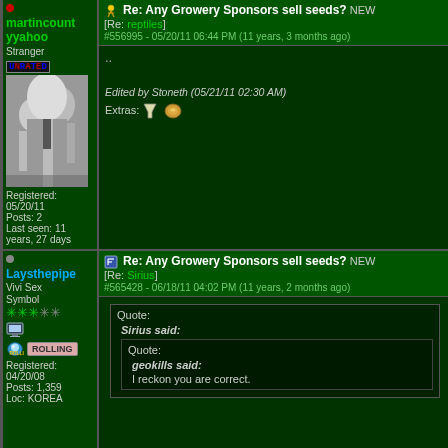martincountyyahoo - Stranger - UNRATED
[Figure (photo): Black and white photo of men in suits]
Registered: 05/20/11
Posts: 2
Last seen: 11 years, 27 days
Re: Any Growery Sponsors sell seeds? [NEW] [Re: reptiles] #556995 - 05/20/11 06:44 PM (11 years, 3 months ago)
..
Edited by Stoneth (05/21/11 02:30 AM)
Extras:
Laysthepipe - Vivi Sex Symbol
Registered: 04/20/08
Posts: 1,359
Loc: KOREA
Re: Any Growery Sponsors sell seeds? [NEW] [Re: Sirius] #565428 - 06/18/11 04:02 PM (11 years, 2 months ago)
Quote:
Sirius said:
Quote:
geokills said:
I reckon you are correct.